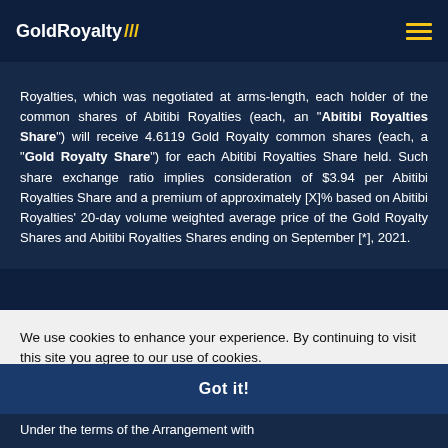GoldRoyalty///
Royalties, which was negotiated at arms-length, each holder of the common shares of Abitibi Royalties (each, an “Abitibi Royalties Share”) will receive 4.6119 Gold Royalty common shares (each, a “Gold Royalty Share”) for each Abitibi Royalties Share held. Such share exchange ratio implies consideration of $3.94 per Abitibi Royalties Share and a premium of approximately [X]% based on Abitibi Royalties' 20-day volume weighted average price of the Gold Royalty Shares and Abitibi Royalties Shares ending on September [*], 2021.
We use cookies to enhance your experience. By continuing to visit this site you agree to our use of cookies.
Learn more
Got it!
Under the terms of the Arrangement with